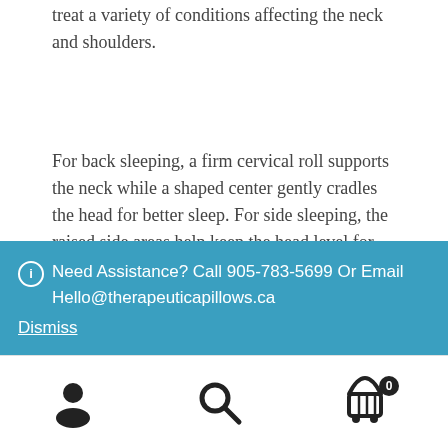treat a variety of conditions affecting the neck and shoulders.
For back sleeping, a firm cervical roll supports the neck while a shaped center gently cradles the head for better sleep. For side sleeping, the raised side areas help keep the head level for proper alignment of the spine.
In order to provide therapeutic benefits and help restore the natural curve of the neck, two very firm cervical rolls provide different support options. Use the larger neck roll
ⓘ Need Assistance? Call 905-783-5699 Or Email Hello@therapeuticapillows.ca
Dismiss
[Figure (infographic): Bottom navigation toolbar with user account icon, search icon, and shopping cart icon with badge showing 0]